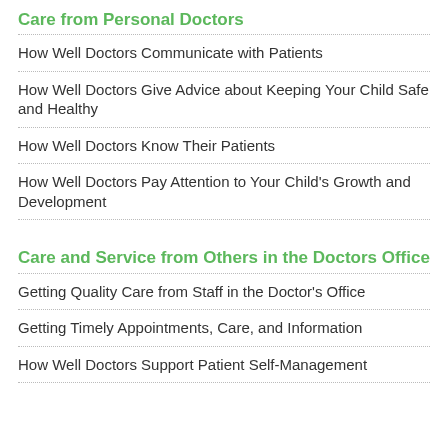Care from Personal Doctors
How Well Doctors Communicate with Patients
How Well Doctors Give Advice about Keeping Your Child Safe and Healthy
How Well Doctors Know Their Patients
How Well Doctors Pay Attention to Your Child's Growth and Development
Care and Service from Others in the Doctors Office
Getting Quality Care from Staff in the Doctor's Office
Getting Timely Appointments, Care, and Information
How Well Doctors Support Patient Self-Management